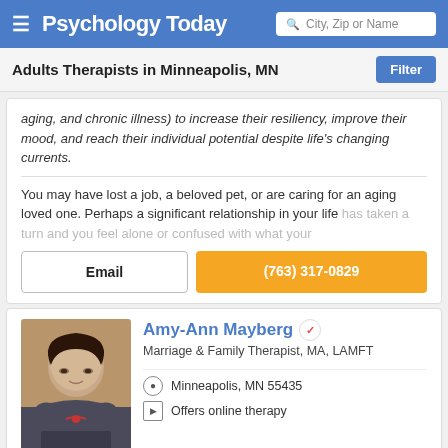Psychology Today — City, Zip or Name
Adults Therapists in Minneapolis, MN
aging, and chronic illness) to increase their resiliency, improve their mood, and reach their individual potential despite life's changing currents.
You may have lost a job, a beloved pet, or are caring for an aging loved one. Perhaps a significant relationship in your life has taken a turn and you feel alone or confused with what your
Email
(763) 317-0829
Amy-Ann Mayberg
Marriage & Family Therapist, MA, LAMFT
Minneapolis, MN 55435
Offers online therapy